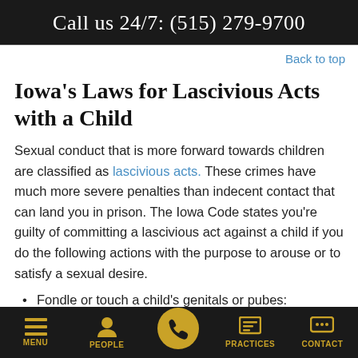Call us 24/7: (515) 279-9700
Back to top
Iowa's Laws for Lascivious Acts with a Child
Sexual conduct that is more forward towards children are classified as lascivious acts. These crimes have much more severe penalties than indecent contact that can land you in prison. The Iowa Code states you're guilty of committing a lascivious act against a child if you do the following actions with the purpose to arouse or to satisfy a sexual desire.
Fondle or touch a child's genitals or pubes:
MENU   PEOPLE   [phone]   PRACTICES   CONTACT